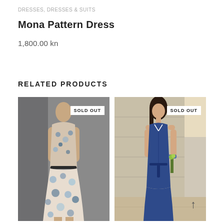DRESSES, DRESSES & SUITS
Mona Pattern Dress
1,800.00 kn
RELATED PRODUCTS
[Figure (photo): Woman wearing a sleeveless floral pattern dress (blue and white flowers) with a belt, standing in front of a grey background. Badge shows SOLD OUT.]
[Figure (photo): Woman wearing a sleeveless navy blue shirt dress with a tie belt, standing outdoors near a stone wall, holding flowers. Badge shows SOLD OUT. Scroll arrow visible at bottom right.]